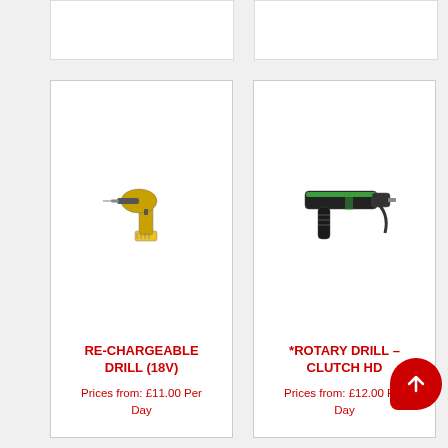[Figure (photo): Partial top-left product card visible at top of page]
[Figure (photo): Partial top-right product card visible at top of page]
[Figure (photo): Re-chargeable drill (18V) - yellow and black cordless drill illustration]
RE-CHARGEABLE DRILL (18V)
Prices from: £11.00 Per Day
[Figure (photo): Rotary Drill Clutch HD - black and green rotary drill illustration]
*ROTARY DRILL – CLUTCH HD
Prices from: £12.00 Per Day